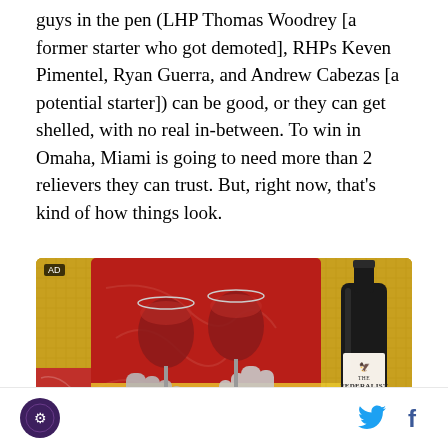guys in the pen (LHP Thomas Woodrey [a former starter who got demoted], RHPs Keven Pimentel, Ryan Guerra, and Andrew Cabezas [a potential starter]) can be good, or they can get shelled, with no real in-between. To win in Omaha, Miami is going to need more than 2 relievers they can trust. But, right now, that's kind of how things look.
[Figure (photo): Advertisement image for The Federalist wine, showing two hands clinking red wine glasses against a red and gold background with a wine bottle on the right side.]
Site logo and social share icons (Twitter, Facebook)